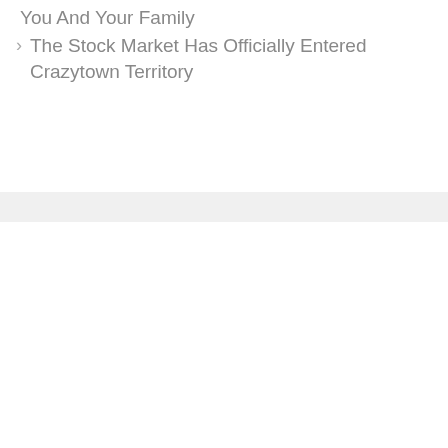You And Your Family
> The Stock Market Has Officially Entered Crazytown Territory